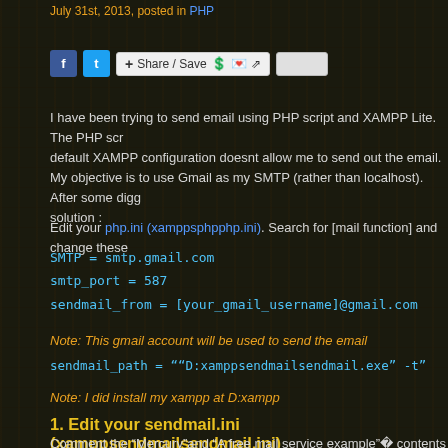July 31st, 2013, posted in PHP
[Figure (screenshot): Social sharing bar with Facebook icon, Twitter icon, and Share/Save button with social icons]
I have been trying to send email using PHP script and XAMPP Lite. The PHP script and default XAMPP configuration doesnt allow me to send out the email. My objective is to use Gmail as my SMTP (rather than localhost). After some digging, I found the solution :
Edit your php.ini (xamppsphpphp.ini). Search for [mail function] and change these settings:
SMTP = smtp.gmail.com
smtp_port = 587
sendmail_from = [your_gmail_username]@gmail.com
Note: This gmail account will be used to send the email
sendmail_path = ““D:xamppsendmailsendmail.exe” -t”
Note: I did install my xampp at D:xampp
1. Edit your sendmail.ini (xamppsendmailsendmail.ini)
Comment the “Mercury”and “A free mail service example”  contents as shown be